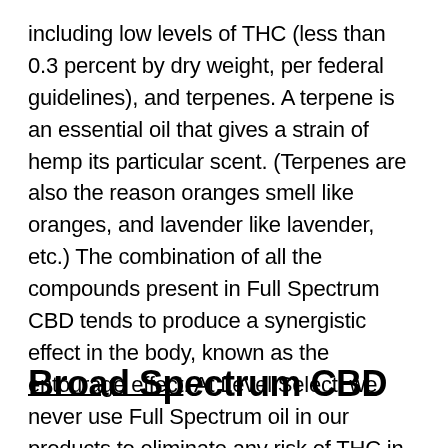including low levels of THC (less than 0.3 percent by dry weight, per federal guidelines), and terpenes. A terpene is an essential oil that gives a strain of hemp its particular scent. (Terpenes are also the reason oranges smell like oranges, and lavender like lavender, etc.) The combination of all the compounds present in Full Spectrum CBD tends to produce a synergistic effect in the body, known as the entourage effect. At Level Select, we never use Full Spectrum oil in our products to eliminate any risk of THC in our CBD.
Broad Spectrum CBD